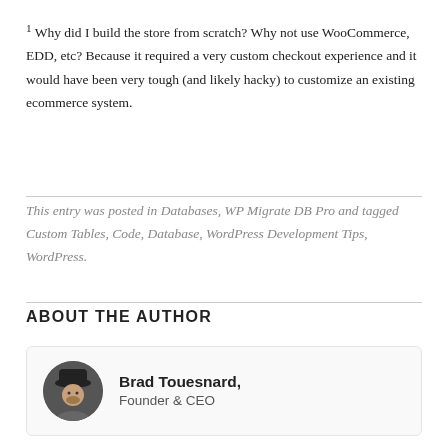1 Why did I build the store from scratch? Why not use WooCommerce, EDD, etc? Because it required a very custom checkout experience and it would have been very tough (and likely hacky) to customize an existing ecommerce system.
This entry was posted in Databases, WP Migrate DB Pro and tagged Custom Tables, Code, Database, WordPress Development Tips, WordPress.
ABOUT THE AUTHOR
Brad Touesnard, Founder & CEO